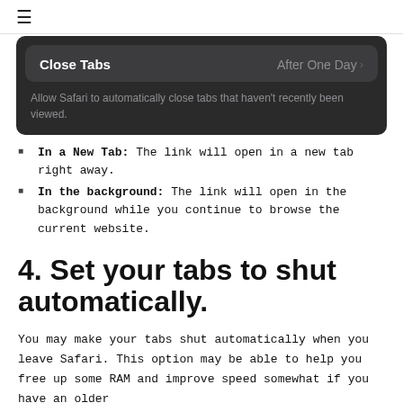≡
[Figure (screenshot): Dark-mode iOS settings screenshot showing 'Close Tabs' set to 'After One Day >' with description: Allow Safari to automatically close tabs that haven't recently been viewed.]
In a New Tab: The link will open in a new tab right away.
In the background: The link will open in the background while you continue to browse the current website.
4. Set your tabs to shut automatically.
You may make your tabs shut automatically when you leave Safari. This option may be able to help you free up some RAM and improve speed somewhat if you have an older device.